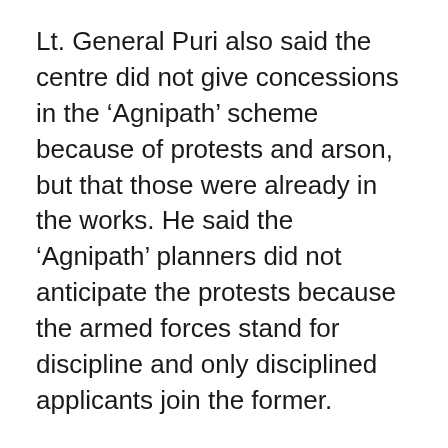Lt. General Puri also said the centre did not give concessions in the ‘Agnipath’ scheme because of protests and arson, but that those were already in the works. He said the ‘Agnipath’ planners did not anticipate the protests because the armed forces stand for discipline and only disciplined applicants join the former.
The top military officer said the COVID-19 pandemic and the long lockdown allowed the planners to finally make the move to the ‘Agnipath’ scheme. “There could have been no better time to implement the Agnipath